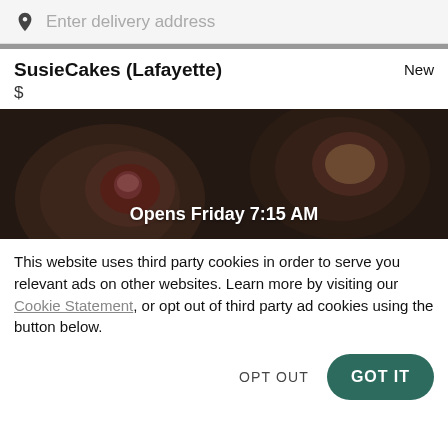Enter delivery address
SusieCakes (Lafayette)
New
$
[Figure (photo): Dark overhead photo of baked goods on plates with overlay text 'Opens Friday 7:15 AM']
This website uses third party cookies in order to serve you relevant ads on other websites. Learn more by visiting our Cookie Statement, or opt out of third party ad cookies using the button below.
OPT OUT
GOT IT